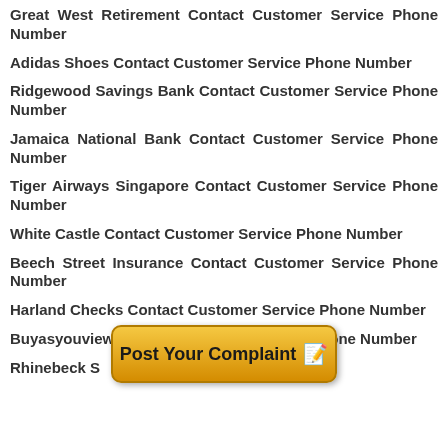Great West Retirement Contact Customer Service Phone Number
Adidas Shoes Contact Customer Service Phone Number
Ridgewood Savings Bank Contact Customer Service Phone Number
Jamaica National Bank Contact Customer Service Phone Number
Tiger Airways Singapore Contact Customer Service Phone Number
White Castle Contact Customer Service Phone Number
Beech Street Insurance Contact Customer Service Phone Number
Harland Checks Contact Customer Service Phone Number
Buyasyouview Contact Customer Service Phone Number
Rhinebeck S... Contact Customer Service
[Figure (other): Post Your Complaint button overlay with notepad and pencil icon]